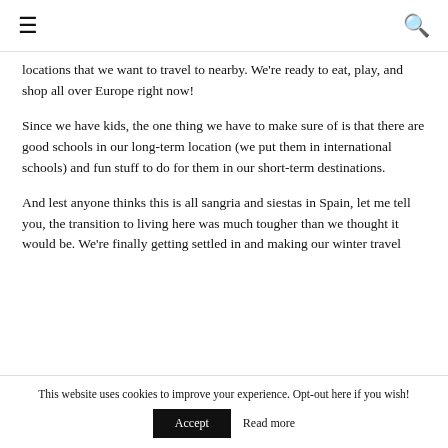≡  🔍
locations that we want to travel to nearby. We're ready to eat, play, and shop all over Europe right now!
Since we have kids, the one thing we have to make sure of is that there are good schools in our long-term location (we put them in international schools) and fun stuff to do for them in our short-term destinations.
And lest anyone thinks this is all sangria and siestas in Spain, let me tell you, the transition to living here was much tougher than we thought it would be. We're finally getting settled in and making our winter travel
This website uses cookies to improve your experience. Opt-out here if you wish!  Accept  Read more